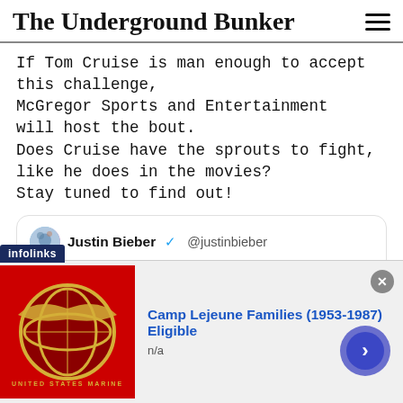The Underground Bunker
If Tom Cruise is man enough to accept this challenge,
McGregor Sports and Entertainment will host the bout.
Does Cruise have the sprouts to fight, like he does in the movies?
Stay tuned to find out!
[Figure (screenshot): Embedded tweet from Justin Bieber (@justinbieber): 'I wanna challenge Tom Cruise to fight in the octagon. Tom if you dont take this fight your scared and you will never live it down. Who is willing to put on the fight? @danawhite ?']
[Figure (infographic): Advertisement banner: infolinks ad for 'Camp Lejeune Families (1953-1987) Eligible' with US Marine Corps logo, n/a subtext, close button, and arrow navigation button.]